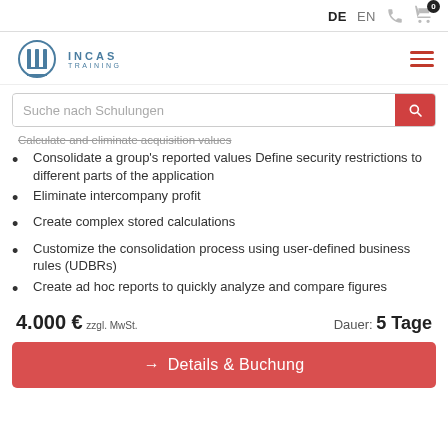DE  EN
[Figure (logo): INCAS Training logo with circular emblem and text]
Suche nach Schulungen
Calculate and eliminate acquisition values
Consolidate a group's reported values Define security restrictions to different parts of the application
Eliminate intercompany profit
Create complex stored calculations
Customize the consolidation process using user-defined business rules (UDBRs)
Create ad hoc reports to quickly analyze and compare figures
4.000 € zzgl. MwSt.    Dauer: 5 Tage
→ Details & Buchung